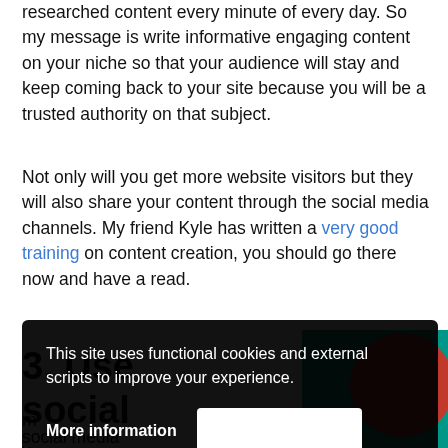researched content every minute of every day. So my message is write informative engaging content on your niche so that your audience will stay and keep coming back to your site because you will be a trusted authority on that subject.
Not only will you get more website visitors but they will also share your content through the social media channels. My friend Kyle has written a very good training on content creation, you should go there now and have a read.
3. Use
social
[Figure (illustration): Teal background illustration with a red circle partially visible, part of a social media section image]
This site uses functional cookies and external scripts to improve your experience.
More information
social media